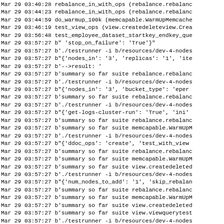Log output lines from Mar 29 03:40:28 to Mar 29 03:57:27 showing test runner operations including rebalance_in_with_ops, do_warmup_100k, test_view_ops, test_employee_dataset_startkey_endkey_que, and various summary/testrunner commands with configuration parameters.